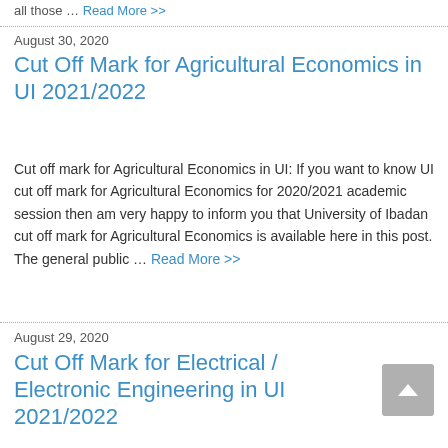all those … Read More >>
August 30, 2020
Cut Off Mark for Agricultural Economics in UI 2021/2022
Cut off mark for Agricultural Economics in UI: If you want to know UI cut off mark for Agricultural Economics for 2020/2021 academic session then am very happy to inform you that University of Ibadan cut off mark for Agricultural Economics is available here in this post. The general public … Read More >>
August 29, 2020
Cut Off Mark for Electrical / Electronic Engineering in UI 2021/2022